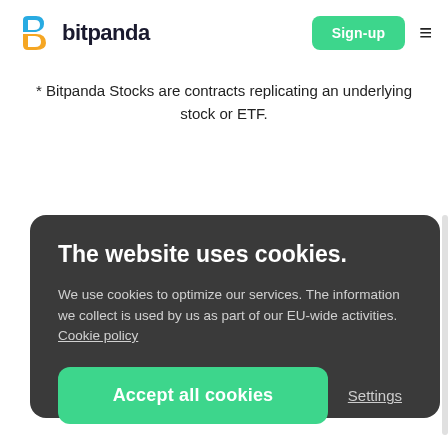[Figure (logo): Bitpanda logo: stylized B icon in blue and yellow, followed by bold text 'bitpanda']
* Bitpanda Stocks are contracts replicating an underlying stock or ETF.
The website uses cookies.
We use cookies to optimize our services. The information we collect is used by us as part of our EU-wide activities. Cookie policy
Accept all cookies
Settings